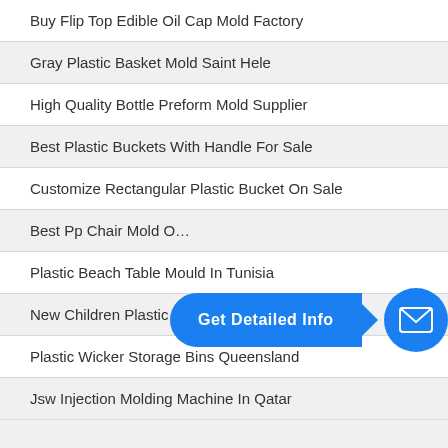Buy Flip Top Edible Oil Cap Mold Factory
Gray Plastic Basket Mold Saint Hele
High Quality Bottle Preform Mold Supplier
Best Plastic Buckets With Handle For Sale
Customize Rectangular Plastic Bucket On Sale
Best Pp Chair Mold O…
[Figure (other): Blue 'Get Detailed Info' button with arrow pointing to a blue circle mail icon]
Plastic Beach Table Mould In Tunisia
New Children Plastic Table Manufacturer
Plastic Wicker Storage Bins Queensland
Jsw Injection Molding Machine In Qatar